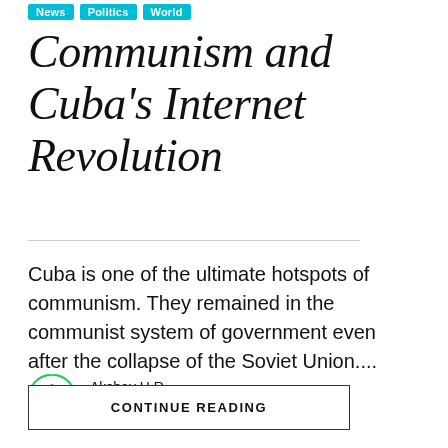News  Politics  World
Communism and Cuba's Internet Revolution
Cuba is one of the ultimate hotspots of communism. They remained in the communist system of government even after the collapse of the Soviet Union....
Akshay H R
August 21, 2021
CONTINUE READING